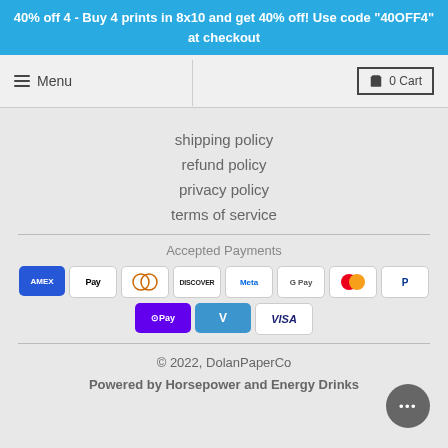40% off 4 - Buy 4 prints in 8x10 and get 40% off! Use code "40OFF4" at checkout
Menu | 0 Cart
shipping policy
refund policy
privacy policy
terms of service
Accepted Payments
[Figure (infographic): Payment method icons: American Express, Apple Pay, Diners Club, Discover, Meta Pay, Google Pay, Mastercard, PayPal, OPay, Venmo, Visa]
© 2022, DolanPaperCo
Powered by Horsepower and Energy Drinks